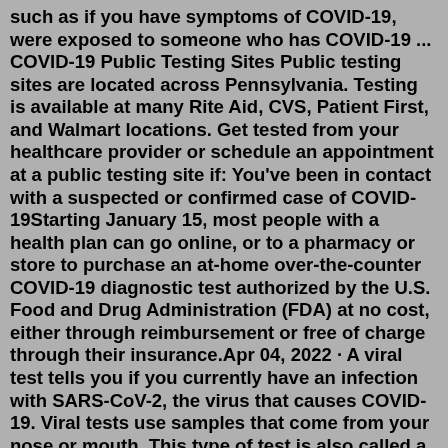such as if you have symptoms of COVID-19, were exposed to someone who has COVID-19 ... COVID-19 Public Testing Sites Public testing sites are located across Pennsylvania. Testing is available at many Rite Aid, CVS, Patient First, and Walmart locations. Get tested from your healthcare provider or schedule an appointment at a public testing site if: You've been in contact with a suspected or confirmed case of COVID-19Starting January 15, most people with a health plan can go online, or to a pharmacy or store to purchase an at-home over-the-counter COVID-19 diagnostic test authorized by the U.S. Food and Drug Administration (FDA) at no cost, either through reimbursement or free of charge through their insurance.Apr 04, 2022 · A viral test tells you if you currently have an infection with SARS-CoV-2, the virus that causes COVID-19. Viral tests use samples that come from your nose or mouth. This type of test is also called a diagnostic test. Rapid tests can be performed in minutes and can include antigen and ...NAT. Self tests are available in the town d...